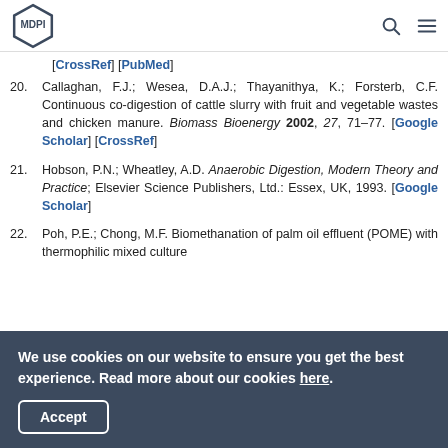MDPI
[CrossRef] [PubMed]
20. Callaghan, F.J.; Wesea, D.A.J.; Thayanithya, K.; Forsterb, C.F. Continuous co-digestion of cattle slurry with fruit and vegetable wastes and chicken manure. Biomass Bioenergy 2002, 27, 71–77. [Google Scholar] [CrossRef]
21. Hobson, P.N.; Wheatley, A.D. Anaerobic Digestion, Modern Theory and Practice; Elsevier Science Publishers, Ltd.: Essex, UK, 1993. [Google Scholar]
22. Poh, P.E.; Chong, M.F. Biomethanation of palm oil effluent (POME) with thermophilic mixed culture
We use cookies on our website to ensure you get the best experience. Read more about our cookies here.
Accept